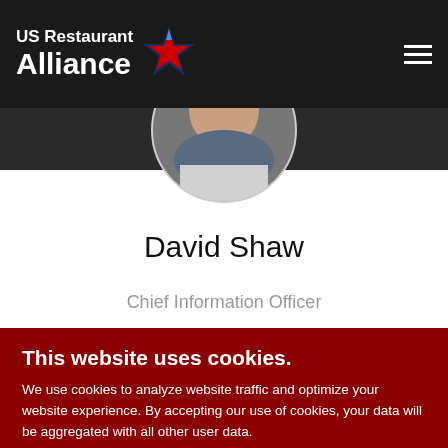US Restaurant Alliance
[Figure (photo): Circular portrait photo of David Shaw, a man in a suit, partially visible at the top of the page]
David Shaw
Chief Information Officer
This website uses cookies.
We use cookies to analyze website traffic and optimize your website experience. By accepting our use of cookies, your data will be aggregated with all other user data.
DECLINE
ACCEPT